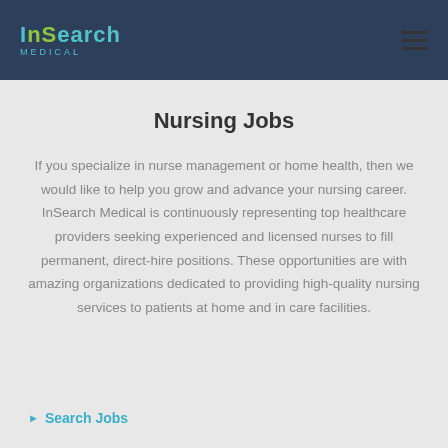InSearch Medical
Nursing Jobs
If you specialize in nurse management or home health, then we would like to help you grow and advance your nursing career. InSearch Medical is continuously representing top healthcare providers seeking experienced and licensed nurses to fill permanent, direct-hire positions. These opportunities are with amazing organizations dedicated to providing high-quality nursing services to patients at home and in care facilities.
Search Jobs